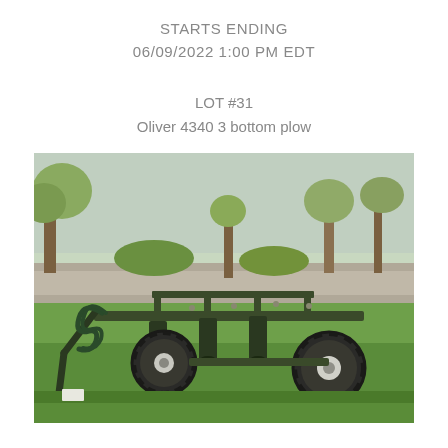STARTS ENDING
06/09/2022 1:00 PM EDT
LOT #31
Oliver 4340 3 bottom plow
[Figure (photo): Photograph of an Oliver 4340 3 bottom plow sitting on green grass outdoors. The plow is dark green/black metal with multiple plow bottoms visible, two large pneumatic tires, and hydraulic hoses. Trees and a road are visible in the background.]